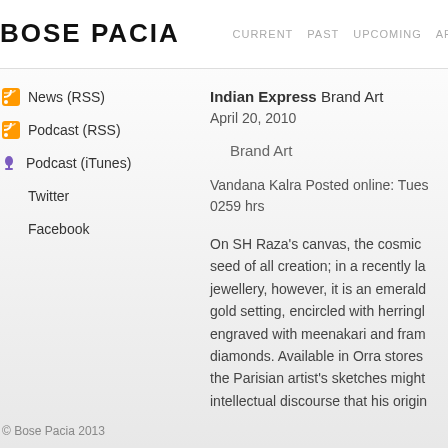BOSE PACIA   CURRENT   PAST   UPCOMING   AR
News (RSS)
Podcast (RSS)
Podcast (iTunes)
Twitter
Facebook
Indian Express Brand Art
April 20, 2010
Brand Art
Vandana Kalra Posted online: Tues 0259 hrs
On SH Raza's canvas, the cosmic seed of all creation; in a recently la jewellery, however, it is an emerald gold setting, encircled with herringl engraved with meenakari and fram diamonds. Available in Orra stores the Parisian artist's sketches might intellectual discourse that his origin
© Bose Pacia 2013